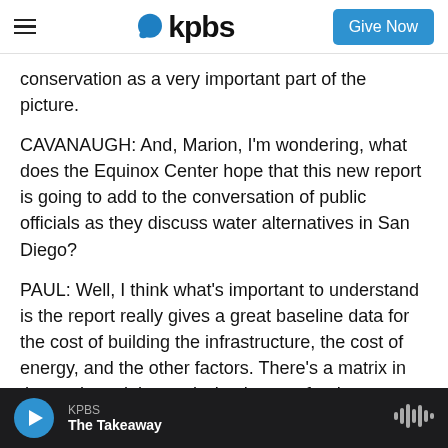[Figure (logo): KPBS logo with blue speech bubble and bold kpbs text, plus hamburger menu and Give Now button]
conservation as a very important part of the picture.
CAVANAUGH: And, Marion, I'm wondering, what does the Equinox Center hope that this new report is going to add to the conversation of public officials as they discuss water alternatives in San Diego?
PAUL: Well, I think what's important to understand is the report really gives a great baseline data for the cost of building the infrastructure, the cost of energy, and the other factors. There's a matrix in the study and the study, by the way for the
KPBS — The Takeaway